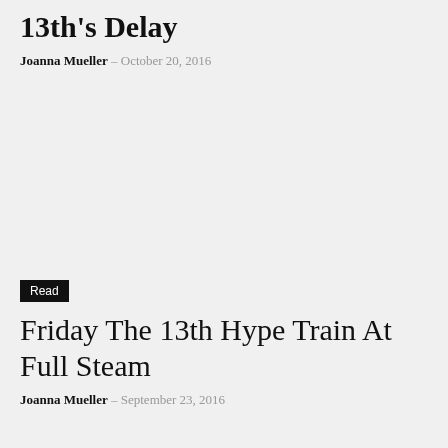13th's Delay
Joanna Mueller – October 20, 2016
Read
Friday The 13th Hype Train At Full Steam
Joanna Mueller – September 23, 2016